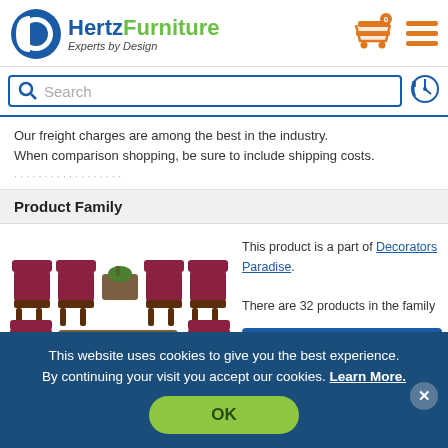[Figure (logo): Hertz Furniture logo with blue and green text and circular icon, tagline 'Experts by Design']
[Figure (screenshot): Search bar with magnifying glass icon and history icon]
Our freight charges are among the best in the industry. When comparison shopping, be sure to include shipping costs.
Product Family
[Figure (photo): Set of burgundy/maroon waiting room chairs with wood frames and a matching coffee table, arranged in a group]
This product is a part of Decorators Paradise. There are 32 products in the family
View Entire Family
This website uses cookies to give you the best experience. By continuing your visit you accept our cookies. Learn More.
OK